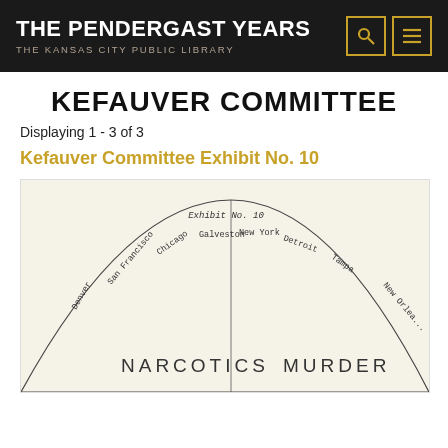THE PENDERGAST YEARS
THE KANSAS CITY PUBLIC LIBRARY
KEFAUVER COMMITTEE
Displaying 1 - 3 of 3
Kefauver Committee Exhibit No. 10
[Figure (other): Kefauver Committee Exhibit No. 10 - a semi-circular diagram showing cities connected to criminal activities including NARCOTICS and MURDER. Cities labeled include Galveston, New York, Detroit, Tampa, New Orleans, San Francisco, Chicago, Denver.]